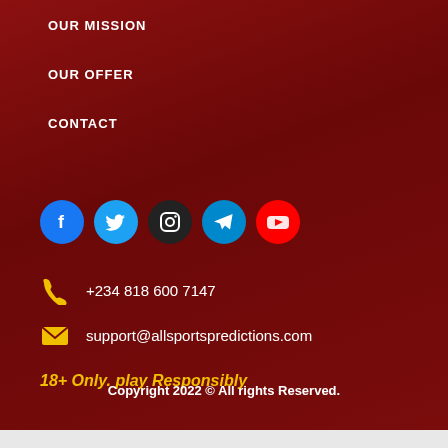OUR MISSION
OUR OFFER
CONTACT
[Figure (infographic): Row of 5 social media icons: Facebook (blue), Twitter (light blue), Instagram (black), Telegram (blue), YouTube (red)]
+234 818 600 7147
support@allsportspredictions.com
18+ Only. play Responsibly
Copyright 2022 © All rights Reserved.